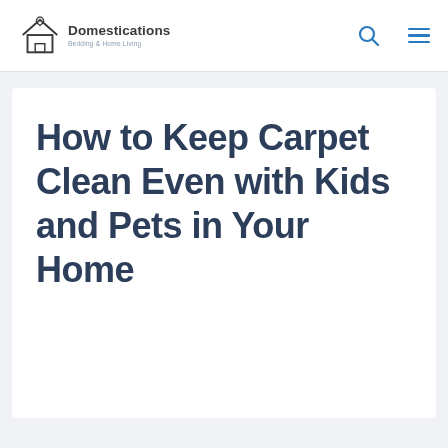Domestications Bedding & Home Living
How to Keep Carpet Clean Even with Kids and Pets in Your Home